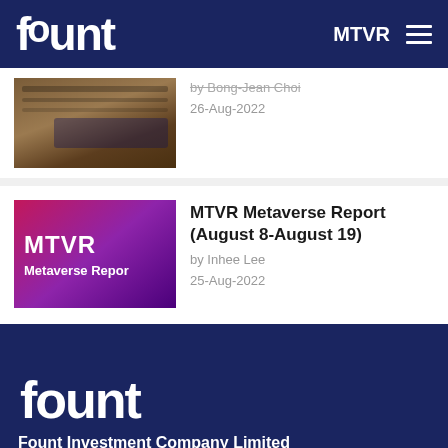fount   MTVR ≡
[Figure (screenshot): Partial newspaper/tablet photo thumbnail (top cropped)]
by Bong-Jean Choi
26-Aug-2022
[Figure (logo): MTVR Metaverse Report branded thumbnail with magenta-purple gradient background]
MTVR Metaverse Report (August 8-August 19)
by Inhee Lee
25-Aug-2022
fount
Fount Investment Company Limited